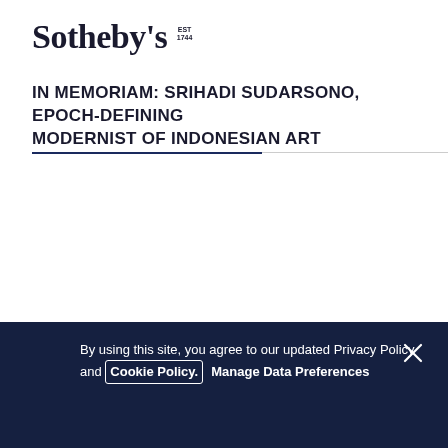Sotheby's EST 1744
IN MEMORIAM: SRIHADI SUDARSONO, EPOCH-DEFINING MODERNIST OF INDONESIAN ART
By using this site, you agree to our updated Privacy Policy and Cookie Policy. Manage Data Preferences